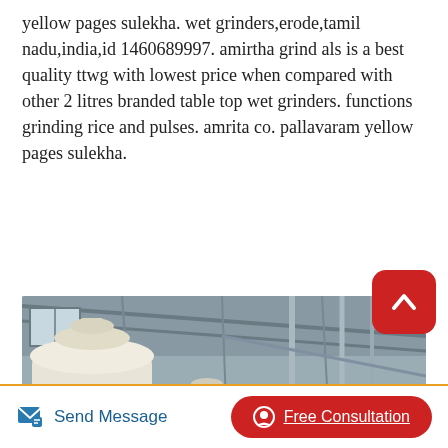yellow pages sulekha. wet grinders,erode,tamil nadu,india,id 1460689997. amirtha grind als is a best quality ttwg with lowest price when compared with other 2 litres branded table top wet grinders. functions grinding rice and pulses. amrita co. pallavaram yellow pages sulekha.
Read More
[Figure (photo): Industrial grinding mill machines in a factory — large white cylindrical mills with red stripe accents, set in an industrial building with metal framework visible in the background.]
Send Message
Free Consultation